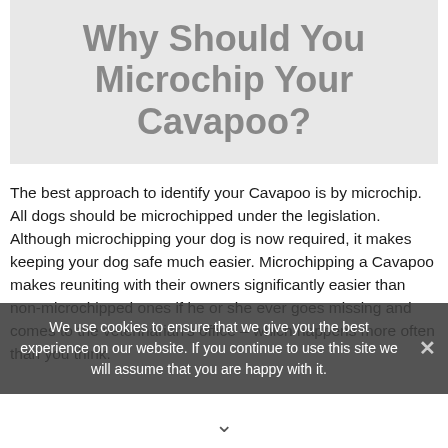Why Should You Microchip Your Cavapoo?
The best approach to identify your Cavapoo is by microchip. All dogs should be microchipped under the legislation. Although microchipping your dog is now required, it makes keeping your dog safe much easier. Microchipping a Cavapoo makes reuniting with their owners significantly easier than non-microchipped ones if he or she ever goes missing and comes to the veterinarian's office – which happens more often than you think.
We use cookies to ensure that we give you the best experience on our website. If you continue to use this site we will assume that you are happy with it.